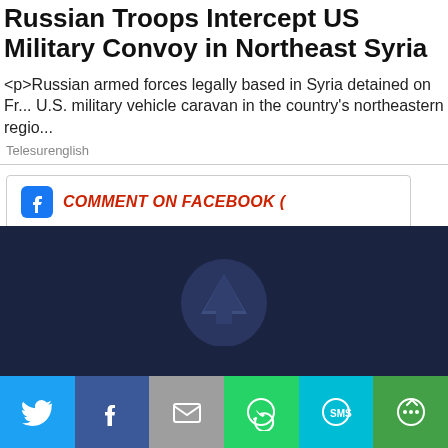Russian Troops Intercept US Military Convoy in Northeast Syria
<p>Russian armed forces legally based in Syria detained on Fr... U.S. military vehicle caravan in the country's northeastern regio...
Telesurenglish
COMMENT ON FACEBOOK (
COMMENT ON TELESUR (0)
[Figure (other): Dark navy blue section with an upward arrow circle icon in the center, above a social sharing bar with Twitter, Facebook, Email, WhatsApp, SMS, and More buttons]